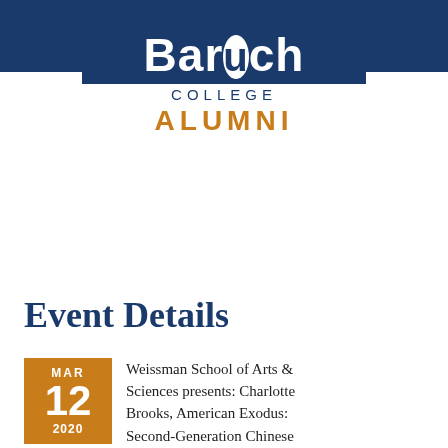[Figure (logo): Baruch College Alumni logo on dark blue header background with hamburger menu icon]
Event Details
Weissman School of Arts & Sciences presents: Charlotte Brooks, American Exodus: Second-Generation Chinese Americans in China, 1901-1949 CANCELLED